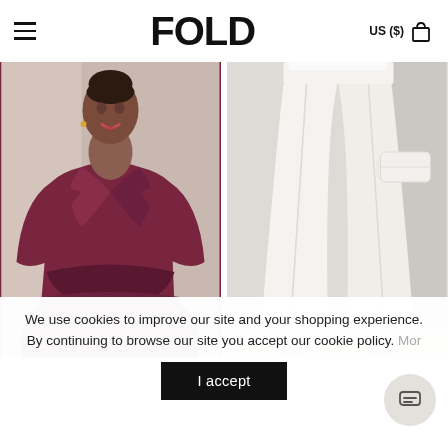FOLD  US ($)
[Figure (photo): Two fashion photos side by side: left shows a woman smiling wearing a burgundy/wine-colored wrap-style long-sleeve top; right shows a person wearing white wide-leg trousers and holding a white clutch bag]
We use cookies to improve our site and your shopping experience. By continuing to browse our site you accept our cookie policy. More
I accept